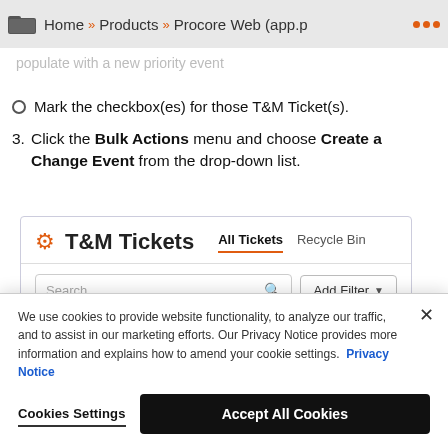Home » Products » Procore Web (app.p ...
populate with a new priority event
Mark the checkbox(es) for those T&M Ticket(s).
Click the Bulk Actions menu and choose Create a Change Event from the drop-down list.
[Figure (screenshot): T&M Tickets interface showing All Tickets and Recycle Bin tabs, a Search box, and Add Filter button with a partial checkbox row below.]
We use cookies to provide website functionality, to analyze our traffic, and to assist in our marketing efforts. Our Privacy Notice provides more information and explains how to amend your cookie settings. Privacy Notice
Cookies Settings   Accept All Cookies